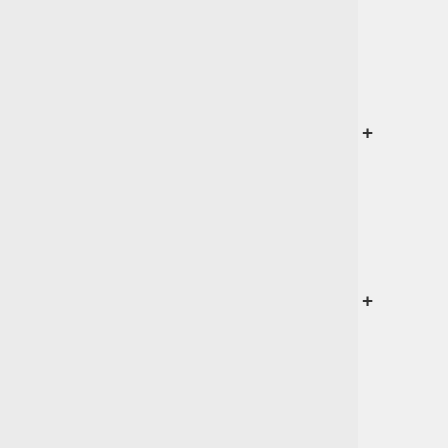only a dome.
</p>
----
<p style="">
<b>Gaea</b>,
<i>Goddess of
the Earth</i>
<br>
<small>Players:
2, 3
<br>Banned:
Atlas, Circe,
Nemesis,
Selene</small>
</p>
<p
style="padding-
left: 2em;">
<b>Setup:</b>